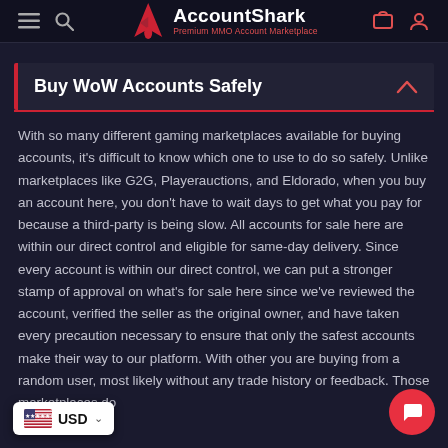AccountShark — Premium MMO Account Marketplace
Buy WoW Accounts Safely
With so many different gaming marketplaces available for buying accounts, it's difficult to know which one to use to do so safely. Unlike marketplaces like G2G, Playerauctions, and Eldorado, when you buy an account here, you don't have to wait days to get what you pay for because a third-party is being slow. All accounts for sale here are within our direct control and eligible for same-day delivery. Since every account is within our direct control, we can put a stronger stamp of approval on what's for sale here since we've reviewed the account, verified the seller as the original owner, and have taken every precaution necessary to ensure that only the safest accounts make their way to our platform. With other you are buying from a random user, most likely without any trade history or feedback. Those marketplaces do